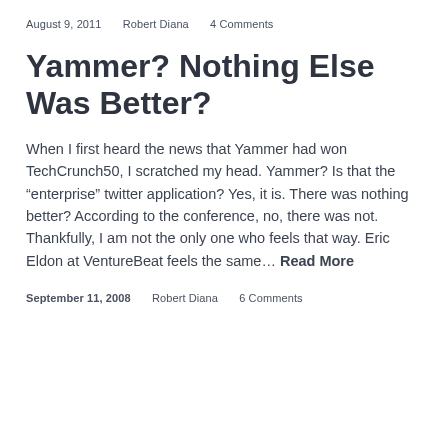August 9, 2011    Robert Diana    4 Comments
Yammer? Nothing Else Was Better?
When I first heard the news that Yammer had won TechCrunch50, I scratched my head. Yammer? Is that the “enterprise” twitter application? Yes, it is. There was nothing better? According to the conference, no, there was not. Thankfully, I am not the only one who feels that way. Eric Eldon at VentureBeat feels the same… Read More
September 11, 2008    Robert Diana    6 Comments